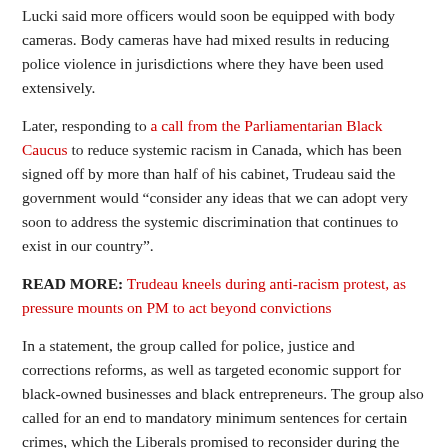Lucki said more officers would soon be equipped with body cameras. Body cameras have had mixed results in reducing police violence in jurisdictions where they have been used extensively.
Later, responding to a call from the Parliamentarian Black Caucus to reduce systemic racism in Canada, which has been signed off by more than half of his cabinet, Trudeau said the government would “consider any ideas that we can adopt very soon to address the systemic discrimination that continues to exist in our country”.
READ MORE: Trudeau kneels during anti-racism protest, as pressure mounts on PM to act beyond convictions
In a statement, the group called for police, justice and corrections reforms, as well as targeted economic support for black-owned businesses and black entrepreneurs. The group also called for an end to mandatory minimum sentences for certain crimes, which the Liberals promised to reconsider during the federal election campaign, but have yet to do so.
Another Liberal campaign promise that has not been kept so far is the doubling of funding for the anti-racist strategy unveiled last